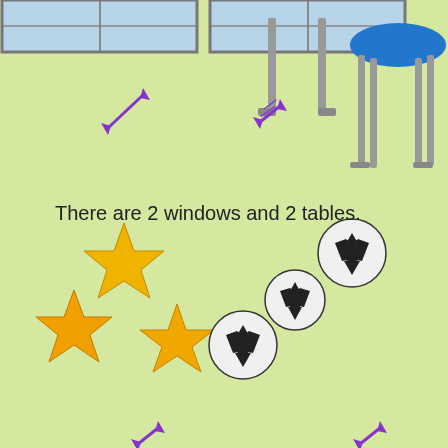[Figure (illustration): Classroom scene with two windows at the top, two tables (one center, one right with blue top), purple double-headed arrows indicating items, three gold stars and three soccer balls in the lower half, and more arrows at the bottom.]
There are 2 windows and 2 tables.